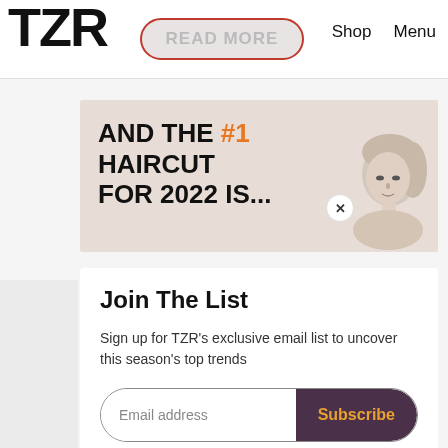TZR  Shop  Menu
[Figure (screenshot): A button labeled READ MORE with rounded rectangle shape, red/pink border, on light gray background]
[Figure (infographic): Promotional banner: 'AND THE #1 HAIRCUT FOR 2022 IS...' with a woman's photo on right side. Close (x) button top right.]
Join The List
Sign up for TZR's exclusive email list to uncover this season's top trends
[Figure (screenshot): Email address input field on left, Subscribe button (dark purple background, orange text) on right, inside rounded rectangle border]